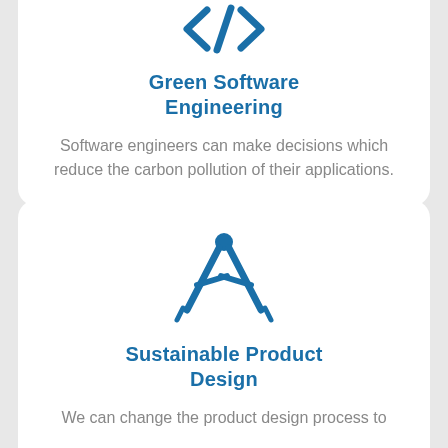[Figure (illustration): Blue code/software icon (angle brackets with slash) representing Green Software Engineering]
Green Software Engineering
Software engineers can make decisions which reduce the carbon pollution of their applications.
[Figure (illustration): Blue drafting compass icon representing Sustainable Product Design]
Sustainable Product Design
We can change the product design process to reduce upstream and downstream emissions.